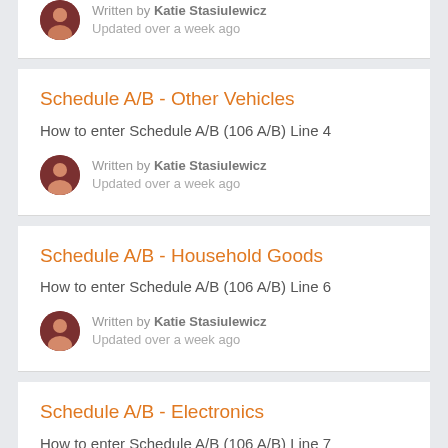Written by Katie Stasiulewicz
Updated over a week ago
Schedule A/B - Other Vehicles
How to enter Schedule A/B (106 A/B) Line 4
Written by Katie Stasiulewicz
Updated over a week ago
Schedule A/B - Household Goods
How to enter Schedule A/B (106 A/B) Line 6
Written by Katie Stasiulewicz
Updated over a week ago
Schedule A/B - Electronics
How to enter Schedule A/B (106 A/B) Line 7